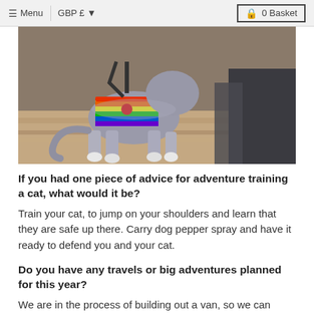Menu | GBP £ ▾  0 Basket
[Figure (photo): A grey fluffy cat wearing a colorful rainbow striped vest/harness, standing on reddish rocky terrain outdoors.]
If you had one piece of advice for adventure training a cat, what would it be?
Train your cat, to jump on your shoulders and learn that they are safe up there. Carry dog pepper spray and have it ready to defend you and your cat.
Do you have any travels or big adventures planned for this year?
We are in the process of building out a van, so we can have a van for all of our adventures. This will also be a